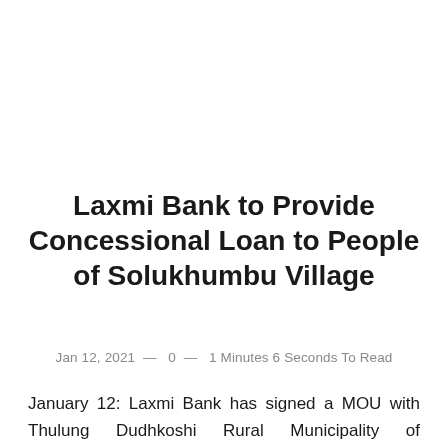Laxmi Bank to Provide Concessional Loan to People of Solukhumbu Village
Jan 12, 2021  —  0  —  1 Minutes 6 Seconds To Read
January 12: Laxmi Bank has signed a MOU with Thulung Dudhkoshi Rural Municipality of Solukhumbu to extend concessional loans at subsidized rates to